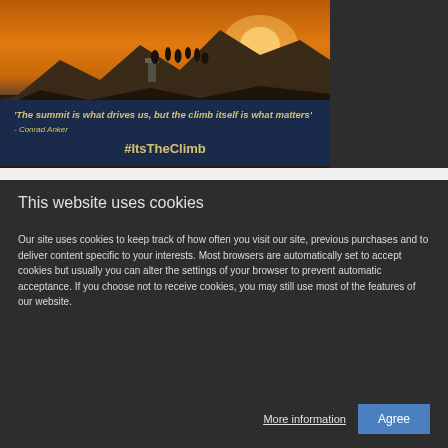[Figure (photo): Mountain summit scene at sunset with silhouettes of people on a rocky peak, with a trig point marker visible. Orange and warm sky background.]
'The summit is what drives us, but the climb itself is what matters' - Conrad Anker #ItsTheClimb
This website uses cookies
Our site uses cookies to keep track of how often you visit our site, previous purchases and to deliver content specific to your interests. Most browsers are automatically set to accept cookies but usually you can alter the settings of your browser to prevent automatic acceptance. If you choose not to receive cookies, you may still use most of the features of our website.
More information
Agree